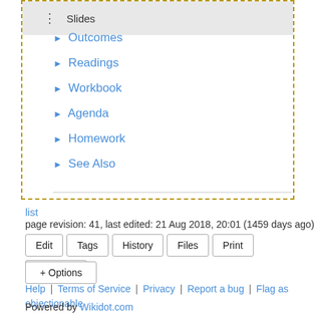[Figure (screenshot): Navigation box with dashed gold border containing a slides bar at top and navigation links: Outcomes, Readings, Workbook, Agenda, Homework, See Also]
► Outcomes
► Readings
► Workbook
► Agenda
► Homework
► See Also
list
page revision: 41, last edited: 21 Aug 2018, 20:01 (1459 days ago)
Edit | Tags | History | Files | Print | Site tools
+ Options
Help | Terms of Service | Privacy | Report a bug | Flag as objectionable
Powered by Wikidot.com